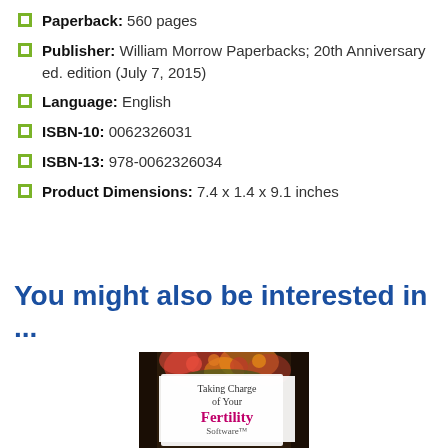Paperback: 560 pages
Publisher: William Morrow Paperbacks; 20th Anniversary ed. edition (July 7, 2015)
Language: English
ISBN-10: 0062326031
ISBN-13: 978-0062326034
Product Dimensions: 7.4 x 1.4 x 9.1 inches
You might also be interested in ...
[Figure (photo): Book cover for 'Taking Charge of Your Fertility Software']